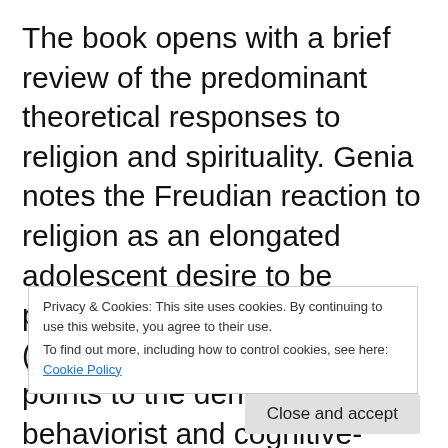The book opens with a brief review of the predominant theoretical responses to religion and spirituality. Genia notes the Freudian reaction to religion as an elongated adolescent desire to be protected and cared for by a (divine) parent. She also points to the derivative behaviorist and cognitive-behavioral findings of religion as related to the irrational thoughts which come from people's backgrounds and upbringing, making religion a part of that b... h... a... a... and concerns which cause people to seek
Privacy & Cookies: This site uses cookies. By continuing to use this website, you agree to their use.
To find out more, including how to control cookies, see here: Cookie Policy
Close and accept